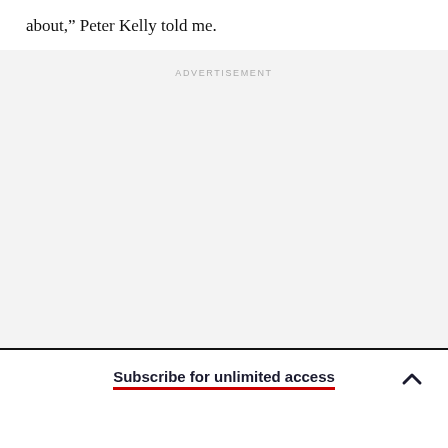about,” Peter Kelly told me.
[Figure (other): Advertisement placeholder area with light gray background and ADVERTISEMENT label]
Subscribe for unlimited access